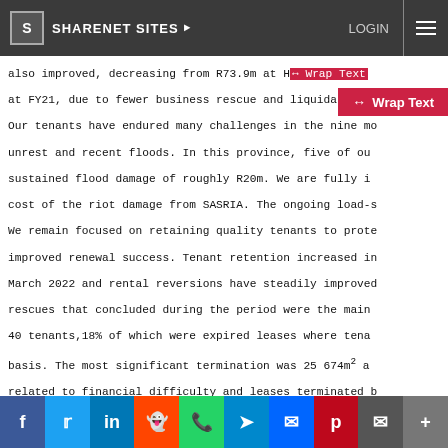SHARENET SITES | LOGIN
also improved, decreasing from R73.9m at H1 at FY21, due to fewer business rescue and liquidation c
Our tenants have endured many challenges in the nine months including civil unrest and recent floods. In this province, five of our properties sustained flood damage of roughly R20m. We are fully insured for the cost of the riot damage from SASRIA. The ongoing load-s
We remain focused on retaining quality tenants to protect income and improved renewal success. Tenant retention increased in the year to March 2022 and rental reversions have steadily improved. Business rescues that concluded during the period were the main driver of 40 tenants,18% of which were expired leases where tenants held over basis. The most significant termination was 25 674m² at related to financial difficulty and leases terminated b
The investment market for industrial assets is buoyant agreements for approximately R400m in respect of another been approved for sale for an approximately R650m.
Social share bar: Facebook, Twitter, LinkedIn, Reddit, WhatsApp, Telegram, Messenger, Pinterest, Email, More